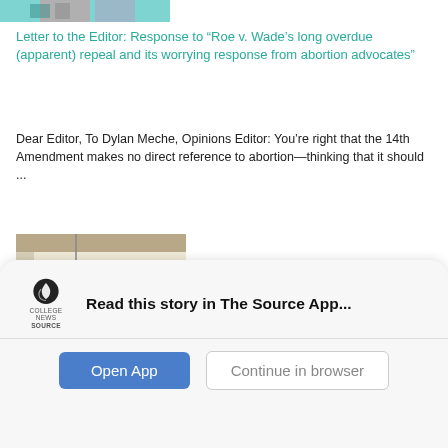[Figure (photo): Small cropped image strip at top showing partial figures/photos in muted teal and gray tones]
Letter to the Editor: Response to “Roe v. Wade’s long overdue (apparent) repeal and its worrying response from abortion advocates”
Dear Editor, To Dylan Meche, Opinions Editor: You’re right that the 14th Amendment makes no direct reference to abortion—thinking that it should ...
[Figure (photo): Photo of a person standing in a sparse, minimalist room with bare white walls, exposed ceiling, and a standing lamp]
OPINION | Harry’s House: A review
Letter to the Editor: Response to “Roe v. Wade’s long overdue (apparent) repeal and its worrying response from abortion advocates”
Read this story in The Source App...
Open App
Continue in browser